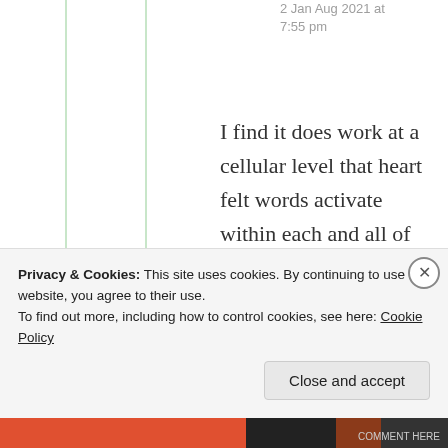2 Jan Aug 2021 at 7:55 pm
I find it does work at a cellular level that heart felt words activate within each and all of us….

great activations Suma… miraculous some would say and if we let ourselves ‘be’ open it’s a
Privacy & Cookies: This site uses cookies. By continuing to use this website, you agree to their use.
To find out more, including how to control cookies, see here: Cookie Policy
Close and accept